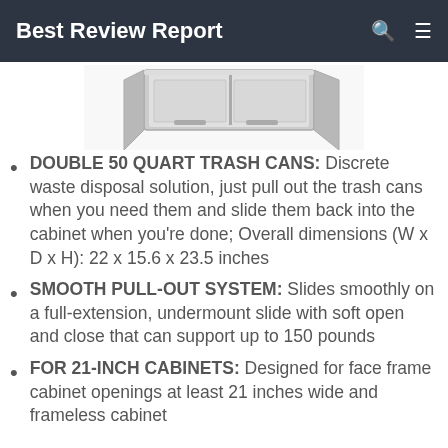Best Review Report
[Figure (photo): Product photo of double pull-out trash can system, partially cropped at top, showing silver/chrome cabinet drawer with two trash bins]
DOUBLE 50 QUART TRASH CANS: Discrete waste disposal solution, just pull out the trash cans when you need them and slide them back into the cabinet when you're done; Overall dimensions (W x D x H): 22 x 15.6 x 23.5 inches
SMOOTH PULL-OUT SYSTEM: Slides smoothly on a full-extension, undermount slide with soft open and close that can support up to 150 pounds
FOR 21-INCH CABINETS: Designed for face frame cabinet openings at least 21 inches wide and frameless cabinet